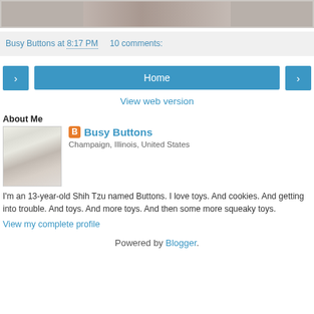[Figure (photo): Partial photograph at top of page showing a carpet or floor texture in brownish-gray tones]
Busy Buttons at 8:17 PM    10 comments:
[Figure (other): Navigation buttons row with left arrow button, Home button, and right arrow button in blue]
View web version
About Me
[Figure (photo): Profile photo of a small white Shih Tzu dog]
Busy Buttons
Champaign, Illinois, United States
I'm an 13-year-old Shih Tzu named Buttons. I love toys. And cookies. And getting into trouble. And toys. And more toys. And then some more squeaky toys.
View my complete profile
Powered by Blogger.